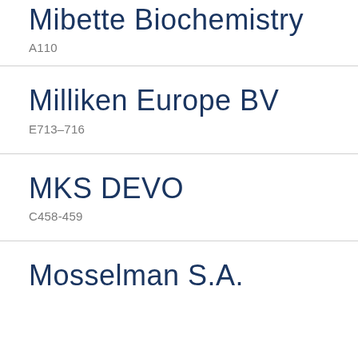Mibette Biochemistry
A110
Milliken Europe BV
E713–716
MKS DEVO
C458-459
Mosselman S.A.